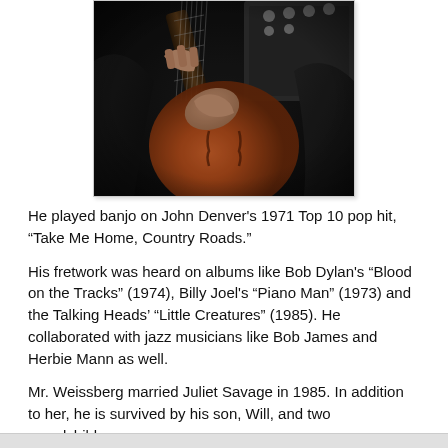[Figure (photo): Close-up photograph of a person playing an archtop/semi-hollow electric guitar, wearing a dark jacket. The guitar has an orange/sunburst finish. Another guitar or amplifier is visible in the background.]
He played banjo on John Denver's 1971 Top 10 pop hit, “Take Me Home, Country Roads.”
His fretwork was heard on albums like Bob Dylan's “Blood on the Tracks” (1974), Billy Joel's “Piano Man” (1973) and the Talking Heads’ “Little Creatures” (1985). He collaborated with jazz musicians like Bob James and Herbie Mann as well.
Mr. Weissberg married Juliet Savage in 1985. In addition to her, he is survived by his son, Will, and two grandchildren.